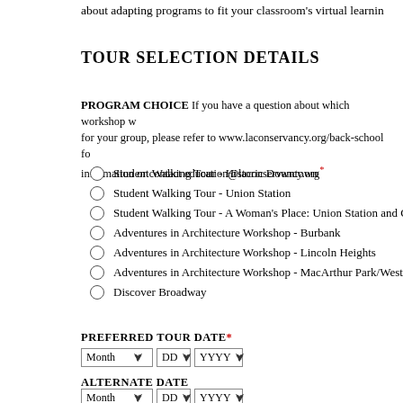about adapting programs to fit your classroom's virtual learning
TOUR SELECTION DETAILS
PROGRAM CHOICE If you have a question about which workshop would be best for your group, please refer to www.laconservancy.org/back-school for more information or contact education@laconservancy.org*
Student Walking Tour - Historic Downtown
Student Walking Tour - Union Station
Student Walking Tour - A Woman's Place: Union Station and Chinatown
Adventures in Architecture Workshop - Burbank
Adventures in Architecture Workshop - Lincoln Heights
Adventures in Architecture Workshop - MacArthur Park/Westlake
Discover Broadway
PREFERRED TOUR DATE*
ALTERNATE DATE